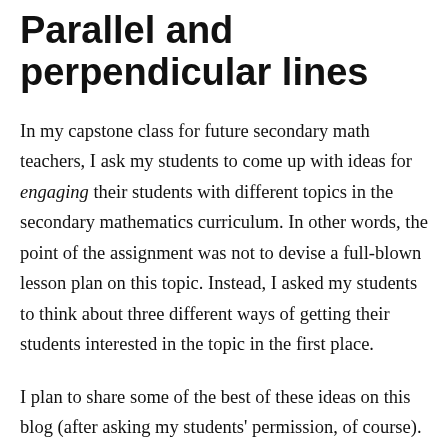Parallel and perpendicular lines
In my capstone class for future secondary math teachers, I ask my students to come up with ideas for engaging their students with different topics in the secondary mathematics curriculum. In other words, the point of the assignment was not to devise a full-blown lesson plan on this topic. Instead, I asked my students to think about three different ways of getting their students interested in the topic in the first place.
I plan to share some of the best of these ideas on this blog (after asking my students' permission, of course).